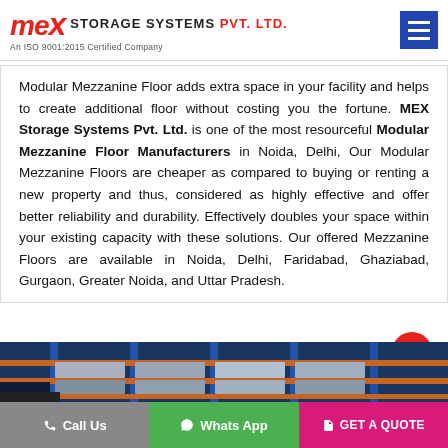[Figure (logo): MEX Storage Systems Pvt. Ltd. logo with red MEX text and ISO 9001:2015 certification tagline]
Modular Mezzanine Floor adds extra space in your facility and helps to create additional floor without costing you the fortune. MEX Storage Systems Pvt. Ltd. is one of the most resourceful Modular Mezzanine Floor Manufacturers in Noida, Delhi, Our Modular Mezzanine Floors are cheaper as compared to buying or renting a new property and thus, considered as highly effective and offer better reliability and durability. Effectively doubles your space within your existing capacity with these solutions. Our offered Mezzanine Floors are available in Noida, Delhi, Faridabad, Ghaziabad, Gurgaon, Greater Noida, and Uttar Pradesh.
[Figure (photo): Warehouse shelving/racking system with blue metal frames and orange beams, showing storage products]